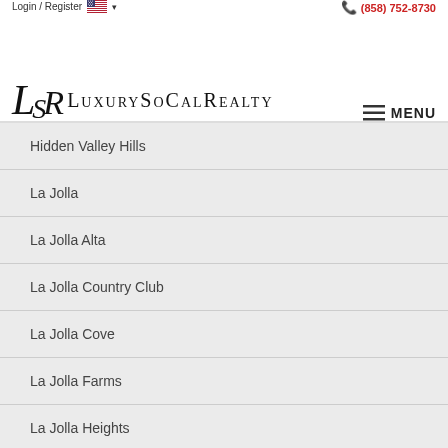Login / Register  (858) 752-8730  LuxurySoCalRealty  MENU
Hidden Valley Hills
La Jolla
La Jolla Alta
La Jolla Country Club
La Jolla Cove
La Jolla Farms
La Jolla Heights
La Jolla Highlands